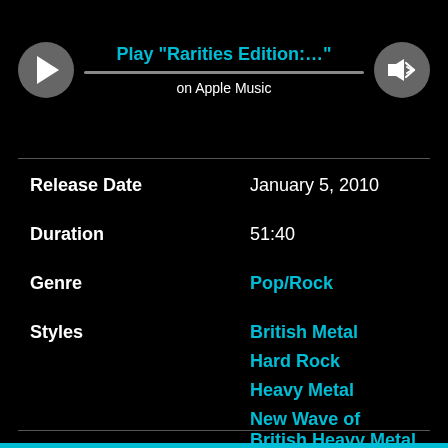[Figure (screenshot): Music player header with play button, volume button, title 'Play "Rarities Edition:..."' in blue, progress bar, and 'on Apple Music' text]
| Release Date | January 5, 2010 |
| Duration | 51:40 |
| Genre | Pop/Rock |
| Styles | British Metal
Hard Rock
Heavy Metal
New Wave of British Heavy Metal |
| Recording Date | October 1, 1981 |